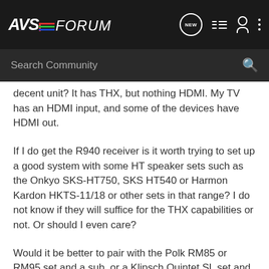AVS FORUM
decent unit? It has THX, but nothing HDMI. My TV has an HDMI input, and some of the devices have HDMI out.
If I do get the R940 receiver is it worth trying to set up a good system with some HT speaker sets such as the Onkyo SKS-HT750, SKS HT540 or Harmon Kardon HKTS-11/18 or other sets in that range? I do not know if they will suffice for the THX capabilities or not. Or should I even care?
Would it be better to pair with the Polk RM85 or RM95 set and a sub, or a Klipsch Quintet SL set and sub?